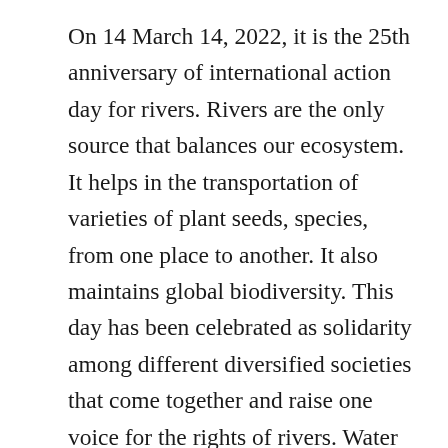On 14 March 14, 2022, it is the 25th anniversary of international action day for rivers. Rivers are the only source that balances our ecosystem. It helps in the transportation of varieties of plant seeds, species, from one place to another. It also maintains global biodiversity. This day has been celebrated as solidarity among different diversified societies that come together and raise one voice for the rights of rivers. Water is one of the greatest resources on this earth and one of the basic needs of life. The ecosystem of freshwater needs protection globally. Let's join our